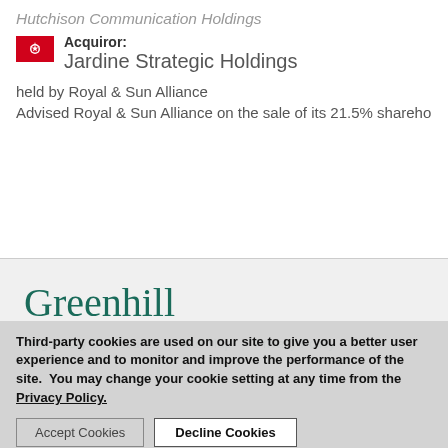Acquiror: Jardine Strategic Holdings
held by Royal & Sun Alliance
Advised Royal & Sun Alliance on the sale of its 21.5% shareholding
Greenhill
Regulatory Disclosures | Site Map | Privacy Policy
Third-party cookies are used on our site to give you a better user experience and to monitor and improve the performance of the site.  You may change your cookie setting at any time from the  Privacy Policy.
Accept Cookies  Decline Cookies